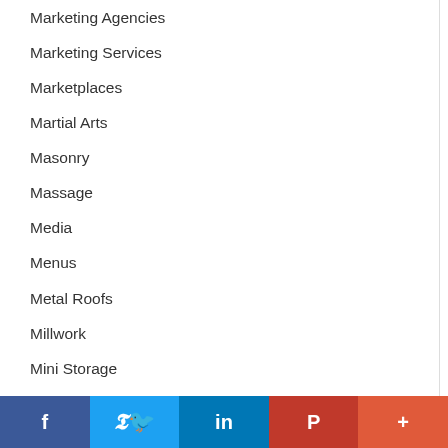Marketing Agencies
Marketing Services
Marketplaces
Martial Arts
Masonry
Massage
Media
Menus
Metal Roofs
Millwork
Mini Storage
Mold Removal
Mold Solutions
Mortgage Services
f  Twitter  in  P  +